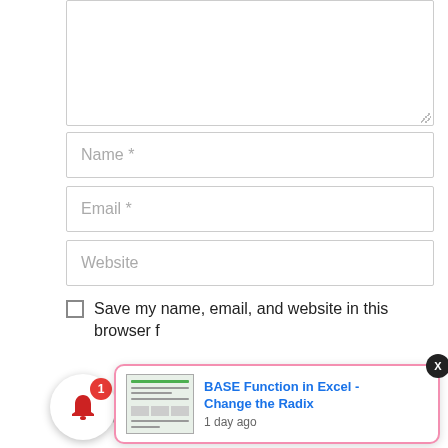[Figure (screenshot): Comment form with textarea, Name, Email, Website input fields, save checkbox, notification bell widget, and popup notification for 'BASE Function in Excel - Change the Radix']
Name *
Email *
Website
Save my name, email, and website in this browser f
Notify me of follow-up comments by email.
BASE Function in Excel - Change the Radix
1 day ago